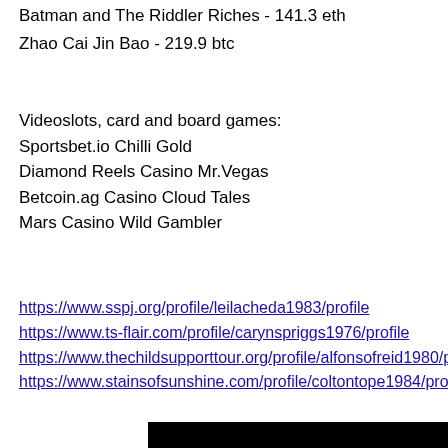Batman and The Riddler Riches - 141.3 eth
Zhao Cai Jin Bao - 219.9 btc
Videoslots, card and board games:
Sportsbet.io Chilli Gold
Diamond Reels Casino Mr.Vegas
Betcoin.ag Casino Cloud Tales
Mars Casino Wild Gambler
https://www.sspj.org/profile/leilacheda1983/profile
https://www.ts-flair.com/profile/carynspriggs1976/profile
https://www.thechildsupporttour.org/profile/alfonsofreid1980/profile
https://www.stainsofsunshine.com/profile/coltontope1984/profile
[Figure (screenshot): Black video thumbnail with white text reading 'what for tho']